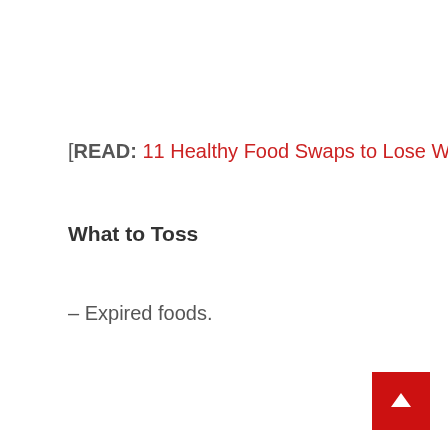[READ: 11 Healthy Food Swaps to Lose Weight. ]
What to Toss
– Expired foods.